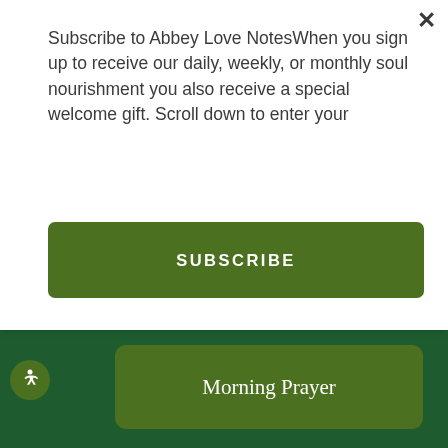Subscribe to Abbey Love NotesWhen you sign up to receive our daily, weekly, or monthly soul nourishment you also receive a special welcome gift. Scroll down to enter your
[Figure (screenshot): SUBSCRIBE button - dark green rectangular button with white bold uppercase text]
[Figure (screenshot): Morning Prayer button on dark green background with accessibility icon]
[Figure (screenshot): Evening Prayer button on dark green background]
[Figure (screenshot): Make A Donation button on dark green background, partially visible at bottom]